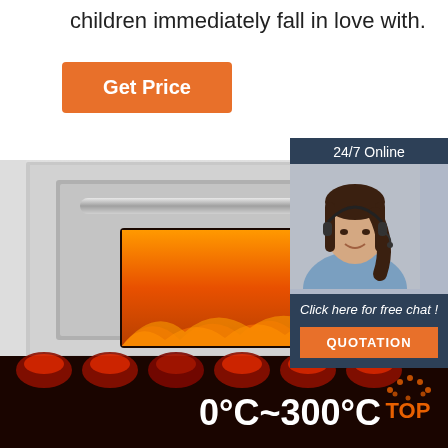children immediately fall in love with.
[Figure (other): Orange 'Get Price' button]
[Figure (infographic): 24/7 Online chat widget with photo of woman wearing headset, 'Click here for free chat!' text, and orange QUOTATION button]
[Figure (photo): Industrial deck oven with stainless steel exterior, glass window showing flames inside, temperature label 0°C~300°C, and TOP logo in bottom right corner]